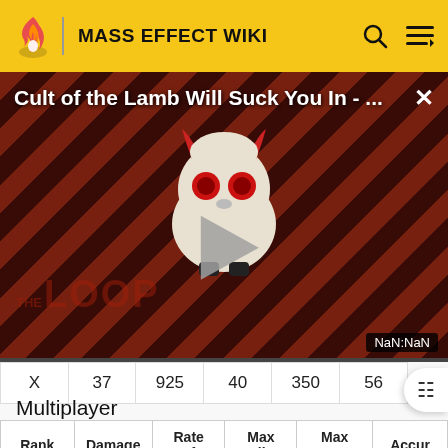MASS EFFECT WIKI
[Figure (screenshot): Video thumbnail for 'Cult of the Lamb Will Suck You In - ...' with play button, diagonal red-dark stripe background, and 'THE LOOP' watermark. Shows a cartoon mascot creature. Time display shows NaN:NaN.]
| X | 37 | 925 | 40 | 350 | 56 |
Multiplayer
| Rank | Damage | Rate of | Max Clip | Max Ammo | Accur |
| --- | --- | --- | --- | --- | --- |